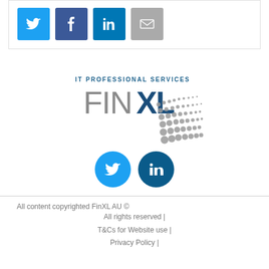[Figure (infographic): Social share buttons: Twitter (light blue), Facebook (dark blue), LinkedIn (dark blue), Email (grey)]
[Figure (logo): FinXL IT Professional Services logo with grey dot swarm graphic]
[Figure (infographic): Two circular social buttons: Twitter (light blue) and LinkedIn (dark blue)]
All content copyrighted FinXL AU ©
All rights reserved |
T&Cs for Website use |
Privacy Policy |